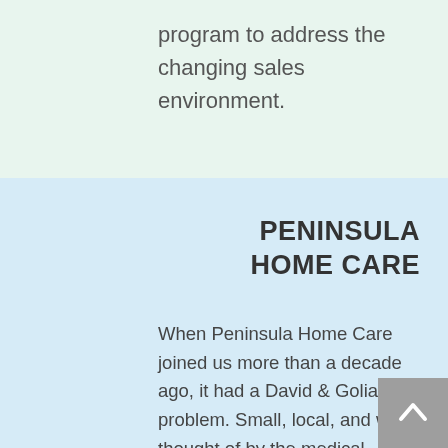program to address the changing sales environment.
PENINSULA HOME CARE
When Peninsula Home Care joined us more than a decade ago, it had a David & Goliath problem. Small, local, and well thought of by the medical community, the company was under pressure from a much larger competitor with much deeper marketing pockets. We helped PHC stand mighty, reaching retirees and